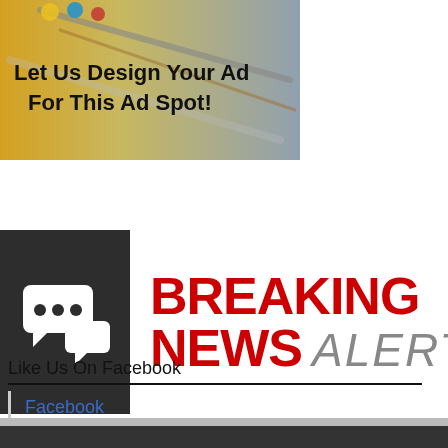[Figure (illustration): Ad banner with paintbrushes background and text 'Let Us Design Your Ad For This Ad Spot!']
[Figure (logo): Breaking News Alerts banner: dark square with speech bubble icon on left, bold red 'BREAKING' text, red 'NEWS' and gray italic 'ALERTS' on right]
Like Us On Facebook
Facebook